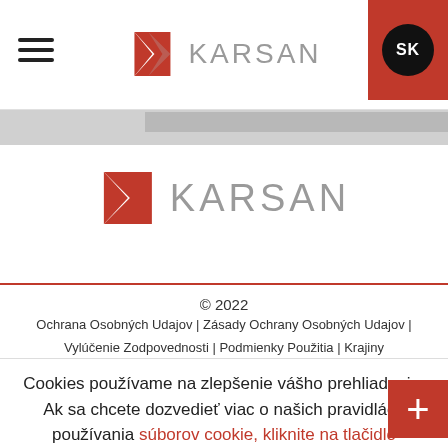KARSAN SK
[Figure (logo): Karsan logo with red K icon and gray KARSAN text, centered on page]
© 2022
Ochrana Osobných Udajov | Zásady Ochrany Osobných Udajov | Vylúčenie Zodpovednosti | Podmienky Použitia | Krajiny
Cookies používame na zlepšenie vášho prehliadania. Ak sa chcete dozvedieť viac o našich pravidlách používania súborov cookie, kliknite na tlačidlo
Súhlasím